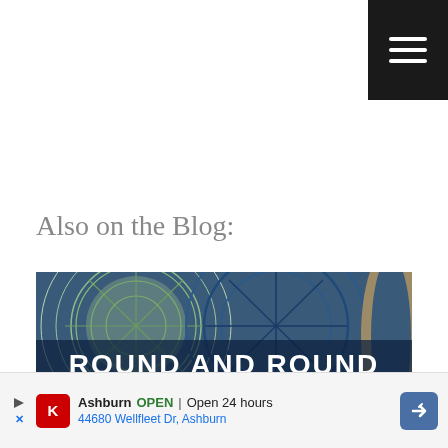[Figure (screenshot): Black hamburger menu button (three white horizontal lines) in the top-right corner of the page]
Also on the Blog:
[Figure (photo): Photo of crochet doilies in blue and green colors on a wooden hoop, with text overlay reading 'ROUND AND ROUND THE CROCHET HOOK']
[Figure (screenshot): Advertisement banner showing a Kroger (K) logo, location 'Ashburn', status 'OPEN | Open 24 hours', address '44680 Wellfleet Dr, Ashburn', with a blue navigation arrow icon on the right]